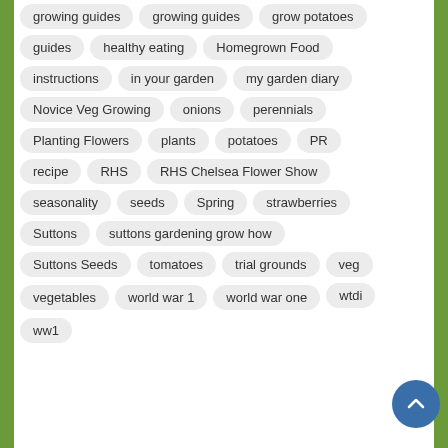growing guides
growing guides
grow potatoes
guides
healthy eating
Homegrown Food
instructions
in your garden
my garden diary
Novice Veg Growing
onions
perennials
Planting Flowers
plants
potatoes
PR
recipe
RHS
RHS Chelsea Flower Show
seasonality
seeds
Spring
strawberries
Suttons
suttons gardening grow how
Suttons Seeds
tomatoes
trial grounds
veg
vegetables
world war 1
world war one
wtdi
ww1